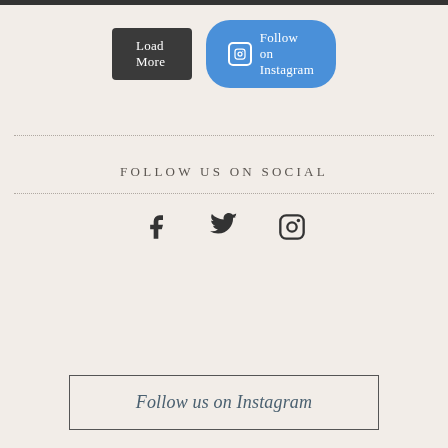[Figure (other): Two buttons: 'Load More' (dark grey rounded rectangle) and 'Follow on Instagram' (blue pill-shaped button with Instagram icon)]
FOLLOW US ON SOCIAL
[Figure (infographic): Three social media icons in a row: Facebook (f), Twitter (bird), Instagram (camera circle)]
Follow us on Instagram